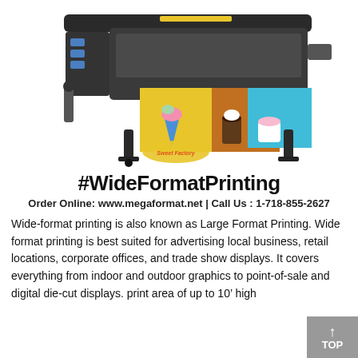[Figure (photo): A large format wide-format inkjet printer printing colorful banners featuring ice cream cones and drinks (Sweet Factory branding), shown on a white background.]
#WideFormatPrinting
Order Online: www.megaformat.net | Call Us : 1-718-855-2627
Wide-format printing is also known as Large Format Printing. Wide format printing is best suited for advertising local business, retail locations, corporate offices, and trade show displays. It covers everything from indoor and outdoor graphics to point-of-sale and digital die-cut displays. print area of up to 10' high